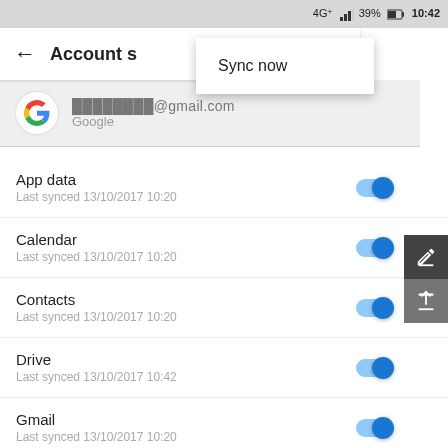[Figure (screenshot): Android phone screenshot showing Account sync settings screen with status bar showing 4G+, 39% battery, 10:42 time. A 'Sync now' dropdown menu is visible. Google account email is shown. Sync toggles for App data, Calendar, Contacts, Drive, and Gmail are all enabled (blue).]
Account s
Sync now
@gmail.com
Google
App data
Last synced 13/10/2017 10:20
Calendar
Last synced 13/10/2017 10:20
Contacts
Last synced 13/10/2017 10:20
Drive
Last synced 13/10/2017 10:42
Gmail
Last synced 13/10/2017 10:20